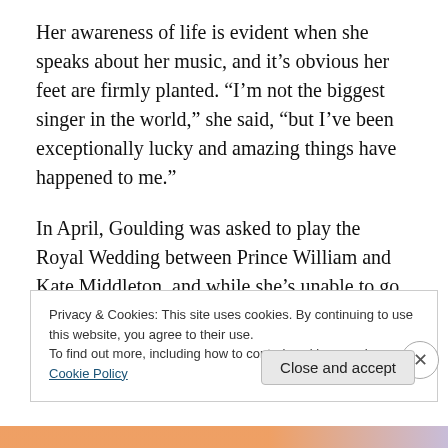Her awareness of life is evident when she speaks about her music, and it's obvious her feet are firmly planted. “I’m not the biggest singer in the world,” she said, “but I’ve been exceptionally lucky and amazing things have happened to me.”
In April, Goulding was asked to play the Royal Wedding between Prince William and Kate Middleton, and while she’s unable to go into detail, she did dish that she and her band played a fourteen-song set. “It was awesome,”
Privacy & Cookies: This site uses cookies. By continuing to use this website, you agree to their use.
To find out more, including how to control cookies, see here: Cookie Policy
Close and accept